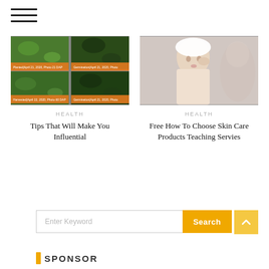[Figure (other): Hamburger menu icon with three horizontal lines]
[Figure (photo): Collage of four green plant/garden photos with orange caption bars]
HEALTH
Tips That Will Make You Influential
[Figure (photo): Woman applying skin cream to face with towel on head]
HEALTH
Free How To Choose Skin Care Products Teaching Servies
Enter Keyword
Search
SPONSOR